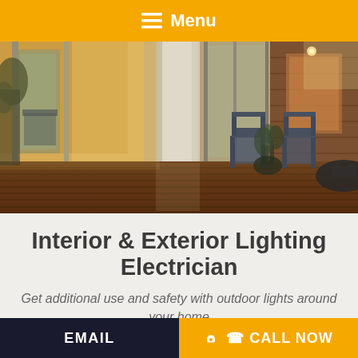☰ Menu
[Figure (photo): Interior/exterior view of a modern home with wood deck flooring, glass walls, white column, outdoor chairs, potted plants, and warm interior lighting]
Interior & Exterior Lighting Electrician
Get additional use and safety with outdoor lights around your home
EMAIL  ☎ CALL NOW